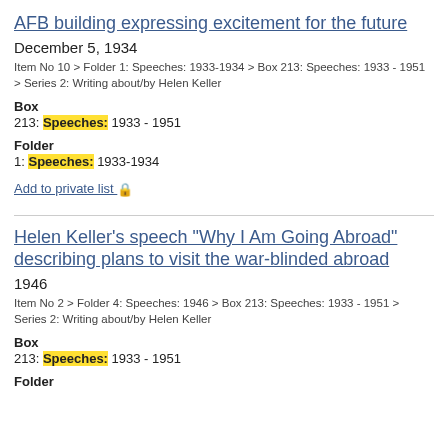AFB building expressing excitement for the future
December 5, 1934
Item No 10 > Folder 1: Speeches: 1933-1934 > Box 213: Speeches: 1933 - 1951 > Series 2: Writing about/by Helen Keller
Box
213: Speeches: 1933 - 1951
Folder
1: Speeches: 1933-1934
Add to private list 🔒
Helen Keller's speech "Why I Am Going Abroad" describing plans to visit the war-blinded abroad
1946
Item No 2 > Folder 4: Speeches: 1946 > Box 213: Speeches: 1933 - 1951 > Series 2: Writing about/by Helen Keller
Box
213: Speeches: 1933 - 1951
Folder